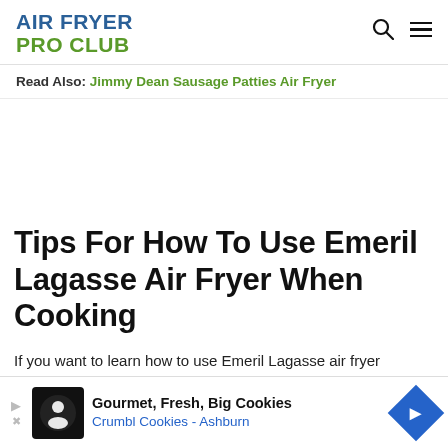AIR FRYER PRO CLUB
Read Also: Jimmy Dean Sausage Patties Air Fryer
Tips For How To Use Emeril Lagasse Air Fryer When Cooking
If you want to learn how to use Emeril Lagasse air fryer efficiently when cooking, read the following tips. The Emeril is
[Figure (other): Advertisement banner for Crumbl Cookies - Ashburn showing logo and text: Gourmet, Fresh, Big Cookies / Crumbl Cookies - Ashburn]